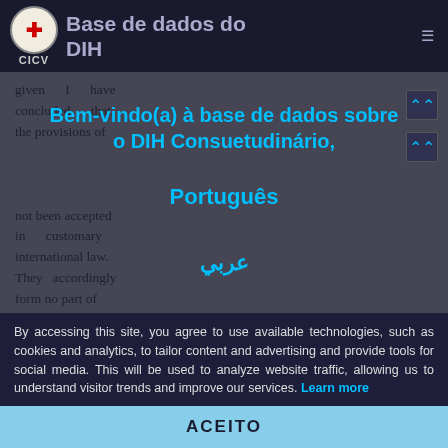Base de dados do DIH — CICV
given I have concluded that the provisions of ... not been accepted in customary international law. They accordingly form no part of South African law. This conclusion
Bem-vindo(a) à base de dados sobre o DIH Consuetudinário,
Português
عربي
By accessing this site, you agree to use available technologies, such as cookies and analytics, to tailor content and advertising and provide tools for social media. This will be used to analyze website traffic, allowing us to understand visitor trends and improve our services. Learn more
ACEITO